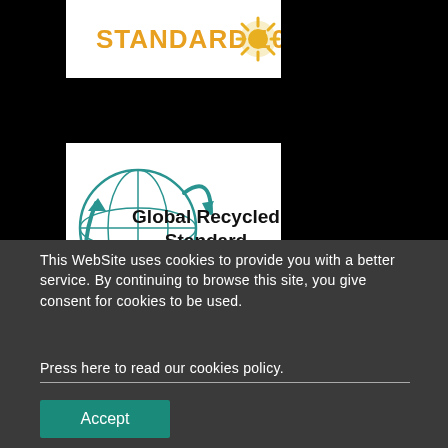[Figure (logo): STANDARD 100 logo with orange text and decorative sunflower icon on white background]
[Figure (logo): Global Recycled Standard logo with teal globe and recycling arrows on white background]
[Figure (logo): Dun & Bradstreet logo with white text on dark teal/blue background]
This WebSite uses cookies to provide you with a better service. By continuing to browse this site, you give consent for cookies to be used.
Press here to read our cookies policy.
Accept